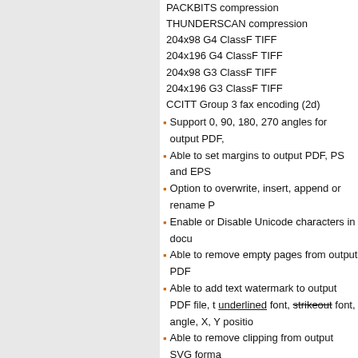PACKBITS compression
THUNDERSCAN compression
204x98 G4 ClassF TIFF
204x196 G4 ClassF TIFF
204x98 G3 ClassF TIFF
204x196 G3 ClassF TIFF
CCITT Group 3 fax encoding (2d)
Support 0, 90, 180, 270 angles for output PDF,
Able to set margins to output PDF, PS and EPS
Option to overwrite, insert, append or rename P
Enable or Disable Unicode characters in docu
Able to remove empty pages from output PDF
Able to add text watermark to output PDF file, t underlined font, strikeout font, angle, X, Y positio
Able to remove clipping from output SVG forma
XLSX to PCL Converter (XLSX2PCL) Comman
XLSX to PCL Converter (XLSX2PCL) Helpful li
How to convert MS Office documents to other for
How to call DOC to Any Command Line (doc2an
What is XPS? The New Electronic Paper Format.
Keywords:
OFFICE DOCUMENT TO JPG :: OFFICE DOCUMENT TO JPEG :: OFFICE DOC GIF :: OFFICE DOCUMENT TO IMAGE :: OFFICE DOCUMENT TO PICTURE :: OFFICE DOCUMENT TO TGA :: OFFICE DOCUMENT TO HTML :: OFFICE DO TO XML :: OFFICE DOCUMENT TO VECTOR :: OFFICE DOCUMENT TO FLAS PS :: OFFICE TO POSTSCRIPT :: OFFICE TO EPS :: OFFICE TO SVG :: OFFI JPEG :: OFFICE TO PNG :: OFFICE TO TIF :: OFFICE TO TIFF :: OFFICE TO G PCX :: OFFICE TO TGA :: OFFICE TO HTML :: OFFICE TO MHTML :: OFFICE T
See Also:
PDF to Image Converter :: PDF Extract TIFF :: H Word Converter :: PDF to Text Converter :: Image AutoCAD DWG and DXF to PDF Converter :: PC Editor :: PDF Password Remover :: Encrypt PDF PDF Tools :: PDF Editor Toolkit :: Text to PDF Co